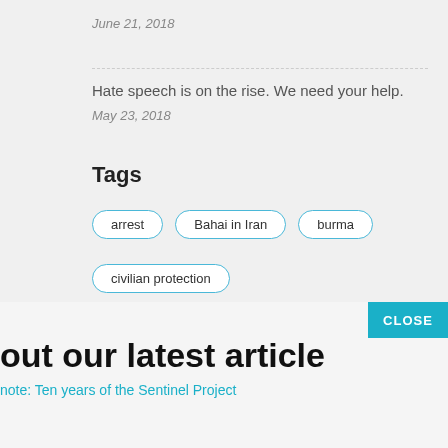June 21, 2018
Hate speech is on the rise. We need your help.
May 23, 2018
Tags
arrest
Bahai in Iran
burma
civilian protection
out our latest article
note: Ten years of the Sentinel Project
identity
IDRC
iHub